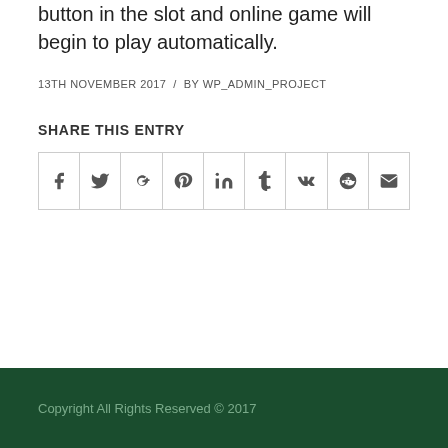button in the slot and online game will begin to play automatically.
13TH NOVEMBER 2017 / BY WP_ADMIN_PROJECT
SHARE THIS ENTRY
[Figure (other): Social share icons row: Facebook, Twitter, Google+, Pinterest, LinkedIn, Tumblr, VK, Reddit, Email]
Copyright All Rights Reserved © 2017